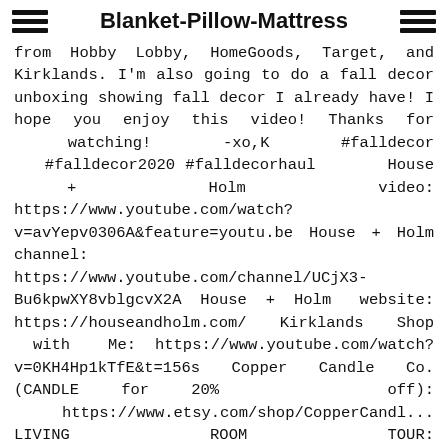Blanket-Pillow-Mattress
from Hobby Lobby, HomeGoods, Target, and Kirklands. I'm also going to do a fall decor unboxing showing fall decor I already have! I hope you enjoy this video! Thanks for watching! -xo,K #falldecor #falldecor2020 #falldecorhaul House + Holm video: https://www.youtube.com/watch?v=avYepv0306A&feature=youtu.be House + Holm channel: https://www.youtube.com/channel/UCjX3-Bu6kpwXY8vblgcvX2A House + Holm website: https://houseandholm.com/ Kirklands Shop with Me: https://www.youtube.com/watch?v=0KH4Hp1kTfE&t=156s Copper Candle Co. (CANDLE for 20% off): https://www.etsy.com/shop/CopperCandl... LIVING ROOM TOUR: https://www.youtube.com/watch?v=9Kx86... FALL DECOR PLAN WITH ME 2020: https://www.youtube.com/watch?v=qWqIj... HOW I STYLE RAE DUNN: https://www.youtube.com/watch?v=tHPtT...